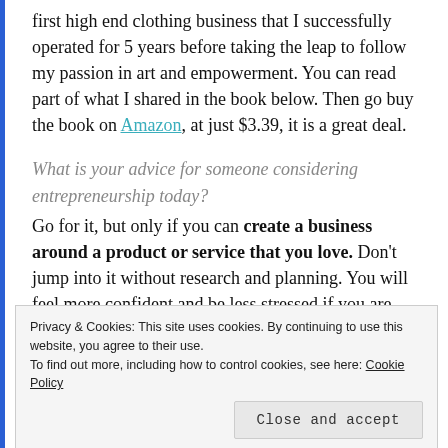first high end clothing business that I successfully operated for 5 years before taking the leap to follow my passion in art and empowerment. You can read part of what I shared in the book below. Then go buy the book on Amazon, at just $3.39, it is a great deal.
What is your advice for someone considering entrepreneurship today?
Go for it, but only if you can create a business around a product or service that you love. Don't jump into it without research and planning. You will feel more confident and be less stressed if you are knowledgeable about what it takes to...
Privacy & Cookies: This site uses cookies. By continuing to use this website, you agree to their use. To find out more, including how to control cookies, see here: Cookie Policy
Close and accept
If I had to pick just three important aspects of starting a